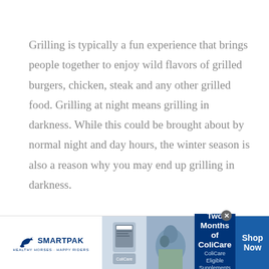Grilling is typically a fun experience that brings people together to enjoy wild flavors of grilled burgers, chicken, steak and any other grilled food. Grilling at night means grilling in darkness. While this could be brought about by normal night and day hours, the winter season is also a reason why you may end up grilling in darkness.

During winter, darkness typically sets in earlier.

Whatever the reason for the darkness it does not have
[Figure (other): SmartPak advertisement banner. Shows SmartPak logo on left with horse icon, a product image in center, a horse and rider photo, dark blue background with text '50% Off Two Months of ColiCare, ColiCare Eligible Supplements, CODE: COLICARE10', and a Shop Now button on right.]